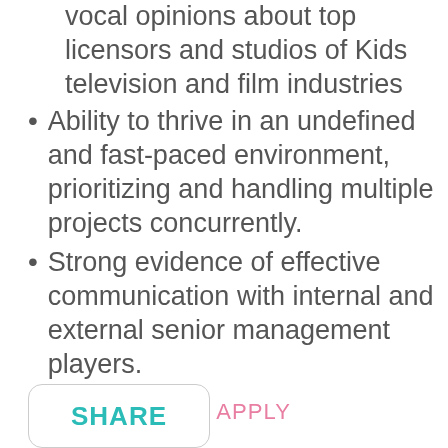vocal opinions about top licensors and studios of Kids television and film industries
Ability to thrive in an undefined and fast-paced environment, prioritizing and handling multiple projects concurrently.
Strong evidence of effective communication with internal and external senior management players.
CLICK HERE TO APPLY
SHARE